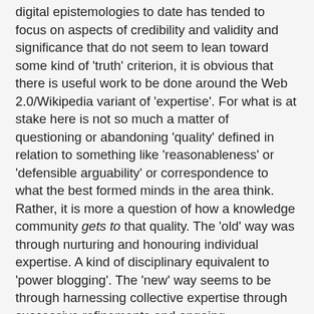digital epistemologies to date has tended to focus on aspects of credibility and validity and significance that do not seem to lean toward some kind of 'truth' criterion, it is obvious that there is useful work to be done around the Web 2.0/Wikipedia variant of 'expertise'. For what is at stake here is not so much a matter of questioning or abandoning 'quality' defined in relation to something like 'reasonableness' or 'defensible arguability' or correspondence to what the best formed minds in the area think. Rather, it is more a question of how a knowledge community gets to that quality. The 'old' way was through nurturing and honouring individual expertise. A kind of disciplinary equivalent to 'power blogging'. The 'new' way seems to be through harnessing collective expertise through successive refinements and ongoing conversations.
This suggested the question of whether and, if so, to what extent, there is any prospect for moving from School 1.0 to School 2.0. Because, thus far, for all the hype about digital literacies, 21st century literacies (yetch, how presumptuous can this rhetoric get?), new basics, more new basics, and all the rest of currentspeak, I can't see anything much on any